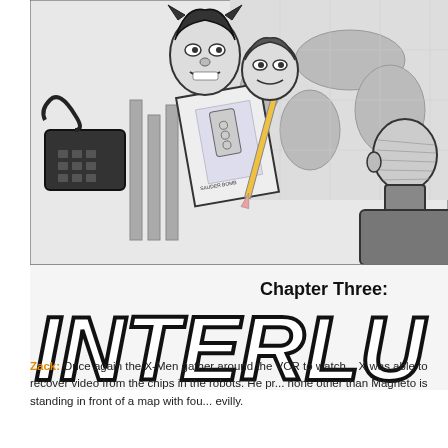[Figure (illustration): Black and white comic book illustration showing X-Men characters gathered around a scene with Wolverine visible in the background, a rotary telephone on the left, pencils and papers including a blueprint labeled 'SAUDER BOMB', and a bald figure (Magneto) standing in front of a world map. Below the illustration is stylized bold text reading 'Chapter Three:' and large block letters 'INTERLU' (partially cropped).]
Zack: Once again the X-Men gather around the VCR to watch... X was able to recover video from the chips in the robots. He pr... none other than Magneto is standing in front of a map with fou... evilly.